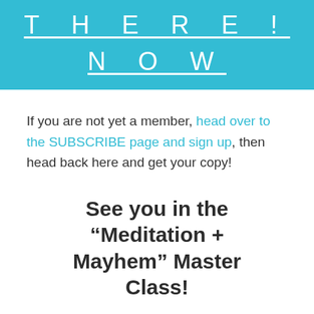THERE! NOW
If you are not yet a member, head over to the SUBSCRIBE page and sign up, then head back here and get your copy!
See you in the “Meditation + Mayhem” Master Class!